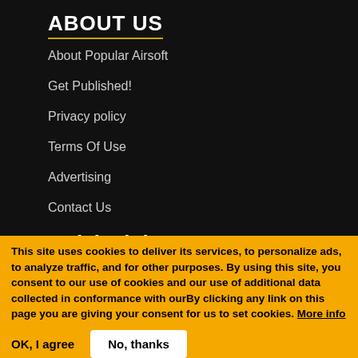ABOUT US
About Popular Airsoft
Get Published!
Privacy policy
Terms Of Use
Advertising
Contact Us
Quick Links
News
Features
This site uses cookies to deliver its services, to personalize ads, to analyze traffic, and for other purposes. By using this site, you consent to our use of cookies and our use of additional data collected in conformance with ourBy clicking any link on this page you are giving your consent for us to set cookies. More info
OK, I agree
No, thanks